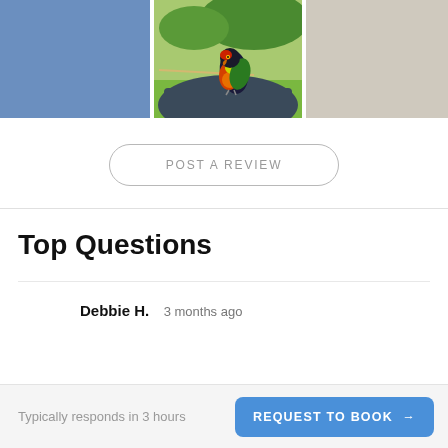[Figure (photo): Three panel image strip: left panel is a solid blue-gray rectangle, center panel shows a rainbow lorikeet parrot perched on a person's shoulder outdoors, right panel is a beige/taupe placeholder rectangle]
POST A REVIEW
Top Questions
Debbie H.  3 months ago
Typically responds in 3 hours
REQUEST TO BOOK →